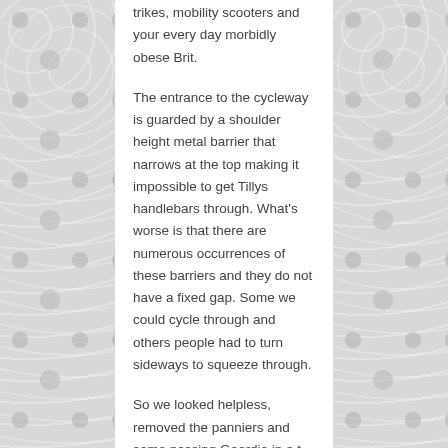trikes, mobility scooters and your every day morbidly obese Brit.
The entrance to the cycleway is guarded by a shoulder height metal barrier that narrows at the top making it impossible to get Tillys handlebars through. What's worse is that there are numerous occurrences of these barriers and they do not have a fixed gap. Some we could cycle through and others people had to turn sideways to squeeze through.
So we looked helpless, removed the panniers and some passing Geordie in a t shirt flip flops and shorts casually lifted Tilly over the barrier for us. A real gentleman and very kind. We would need this chap about 12 times that day but as he'd popped to the beach to sunbathe we had to lift Tilly ourselves.